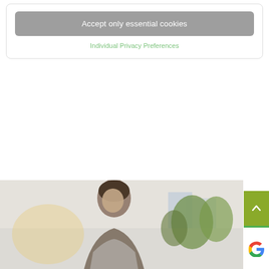Accept only essential cookies
Individual Privacy Preferences
[Figure (photo): Bottom portion of a webpage showing a cookie consent dialog with 'Accept only essential cookies' button and 'Individual Privacy Preferences' link, a large white space below, a green scroll-to-top button with upward arrow on the right side, a Google widget below it, and at the bottom a photo showing a man outdoors with trees and buildings in the background.]